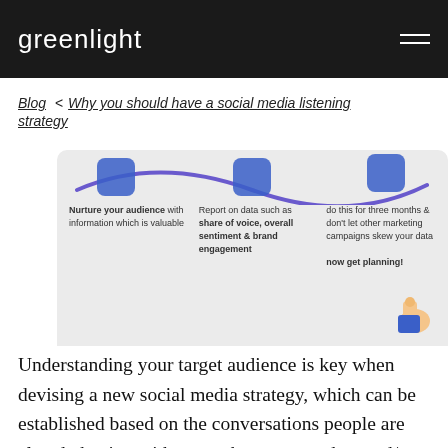greenlight
Blog < Why you should have a social media listening strategy
[Figure (infographic): Infographic showing steps: Nurture your audience with information which is valuable | Report on data such as share of voice, overall sentiment & brand engagement | do this for three months & don't let other marketing campaigns skew your data. now get planning!]
Understanding your target audience is key when devising a new social media strategy, which can be established based on the conversations people are already having with you, what your product and/or service offering is and who your competitors are. What is worth noting in this scenario is that your social audience is not likely to be the same as your